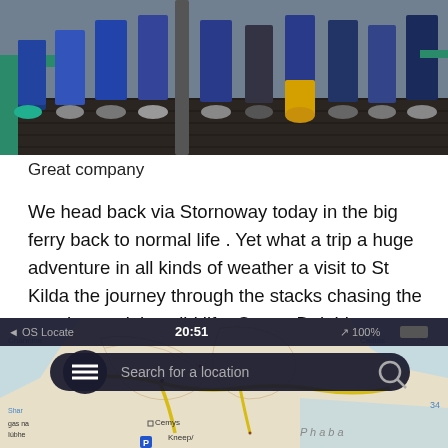[Figure (photo): Photo showing the lower bodies and feet of a group of people standing on a dark wooden deck, wearing various shoes and jeans, with a teal/green railing visible.]
Great company
We head back via Stornoway today in the big ferry back to normal life . Yet what a trip a huge adventure in all kinds of weather a visit to St Kilda the journey through the stacks chasing the weather and the wild life: Orcas, Dolphins, so many birds and the wild seas.
[Figure (screenshot): Screenshot of OS Locate map app showing time 20:51, battery 100%, a search bar reading 'Search for a location', and a topographic map of a Scottish island area showing place names including Siaram Mòr, Cemys, Kneep, and others with yellow roads and blue water features.]